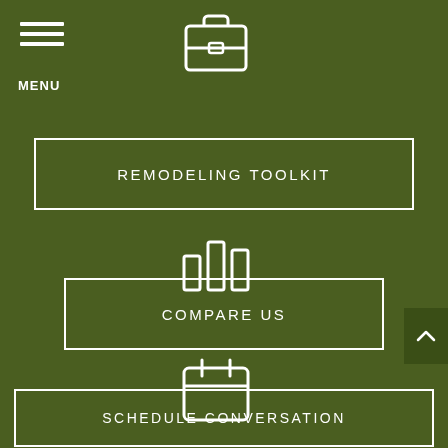[Figure (illustration): Hamburger menu icon (three horizontal lines) in top-left corner]
MENU
[Figure (illustration): Briefcase/toolkit icon centered at top]
REMODELING TOOLKIT
[Figure (illustration): Bar chart icon centered in middle section]
COMPARE US
[Figure (illustration): Calendar icon centered in lower section]
SCHEDULE CONVERSATION